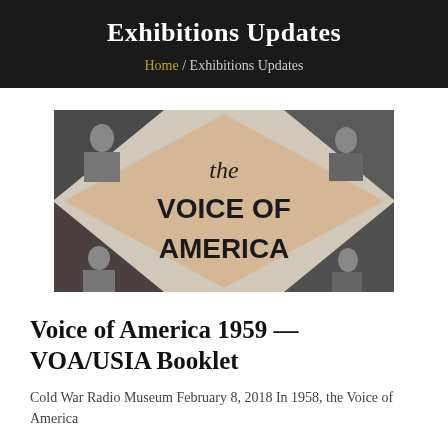Exhibitions Updates
Home / Exhibitions Updates
[Figure (photo): Cover of a Voice of America booklet showing the text 'the VOICE OF AMERICA' in bold on a beige diamond-shaped background, with black-and-white photographs of people in the corners.]
Voice of America 1959 — VOA/USIA Booklet
Cold War Radio Museum February 8, 2018 In 1958, the Voice of America